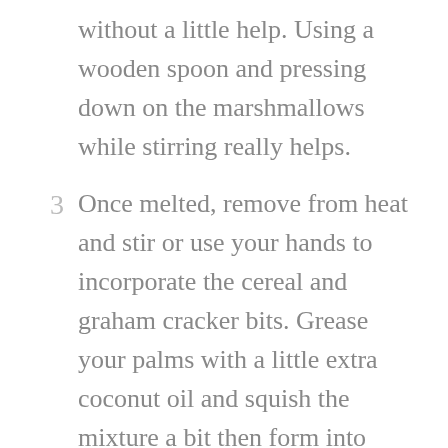without a little help. Using a wooden spoon and pressing down on the marshmallows while stirring really helps.
3 Once melted, remove from heat and stir or use your hands to incorporate the cereal and graham cracker bits. Grease your palms with a little extra coconut oil and squish the mixture a bit then form into balls. Place balls on wax or parchment paper. Melt chocolate with 1/2 tbsp oil over very low heat. Drizzle balls with melted chocolate and place in the fridge to firm up.